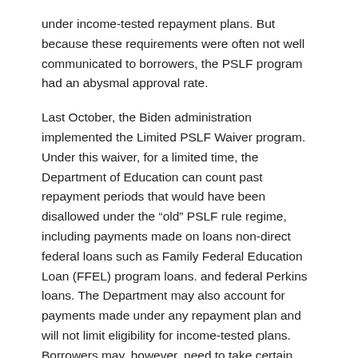under income-tested repayment plans. But because these requirements were often not well communicated to borrowers, the PSLF program had an abysmal approval rate.
Last October, the Biden administration implemented the Limited PSLF Waiver program. Under this waiver, for a limited time, the Department of Education can count past repayment periods that would have been disallowed under the “old” PSLF rule regime, including payments made on loans non-direct federal loans such as Family Federal Education Loan (FFEL) program loans. and federal Perkins loans. The Department may also account for payments made under any repayment plan and will not limit eligibility for income-tested plans. Borrowers may, however, need to take certain steps to qualify, and they must take action by October 31, 2022. Learn more here.
Student Loan Forgiveness Review and Appeal Process